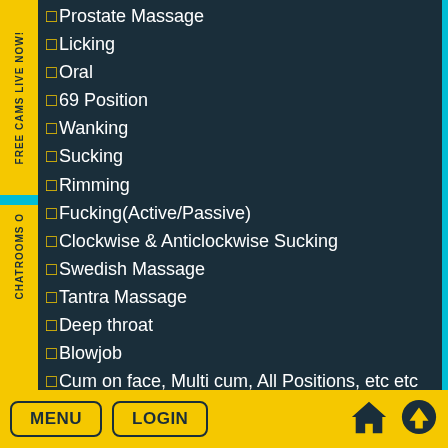✓Prostate Massage
✓Licking
✓Oral
✓69 Position
✓Wanking
✓Sucking
✓Rimming
✓Fucking(Active/Passive)
✓Clockwise & Anticlockwise Sucking
✓Swedish Massage
✓Tantra Massage
✓Deep throat
✓Blowjob
✓Cum on face, Multi cum, All Positions, etc etc